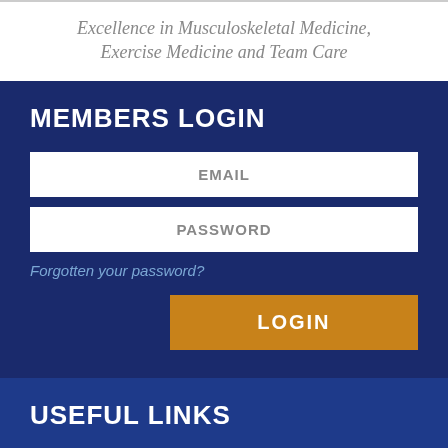Excellence in Musculoskeletal Medicine, Exercise Medicine and Team Care
MEMBERS LOGIN
EMAIL
PASSWORD
Forgotten your password?
LOGIN
USEFUL LINKS
National Centre for Sport and Exercise Medicine (NCSEM)